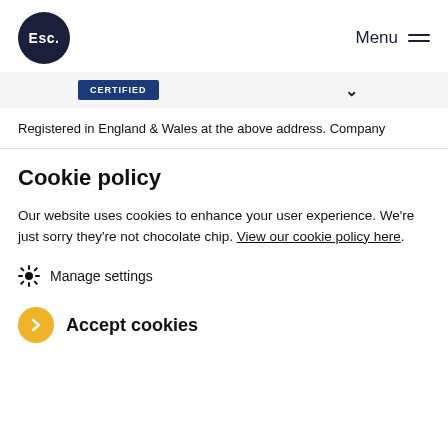Esc. Menu
[Figure (screenshot): Partial banner with 'CERTIFIED' button and chevron/dropdown arrow visible]
Registered in England & Wales at the above address. Company
Cookie policy
Our website uses cookies to enhance your user experience. We're just sorry they're not chocolate chip. View our cookie policy here.
Manage settings
Accept cookies